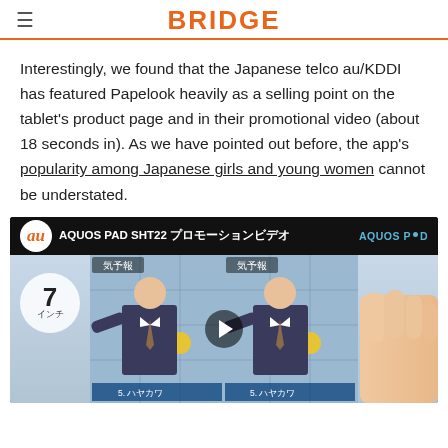BRIDGE
Interestingly, we found that the Japanese telco au/KDDI has featured Papelook heavily as a selling point on the tablet's product page and in their promotional video (about 18 seconds in). As we have pointed out before, the app's popularity among Japanese girls and young women cannot be understated.
[Figure (screenshot): Video thumbnail for AQUOS PAD SHT22 promotional video by au/KDDI. Shows a Japanese TV weather forecast scene with two male presenters in suits, side by side in a split screen view. A 7-inch circle indicator is visible on the left. A play button is centered over the video. Top bar shows the au logo, video title in Japanese, and 'AQUOS PAD' branding.]